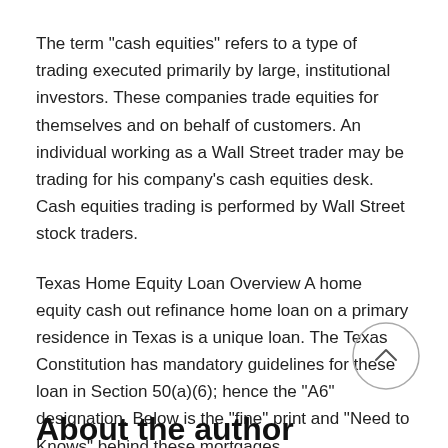The term "cash equities" refers to a type of trading executed primarily by large, institutional investors. These companies trade equities for themselves and on behalf of customers. An individual working as a Wall Street trader may be trading for his company’s cash equities desk. Cash equities trading is performed by Wall Street stock traders.
Texas Home Equity Loan Overview A home equity cash out refinance home loan on a primary residence in Texas is a unique loan. The Texas Constitution has mandatory guidelines for these loan in Section 50(a)(6); hence the "A6" designation. Below is the "fine" print and "Need to Knows" behind these mortgages.
About the author